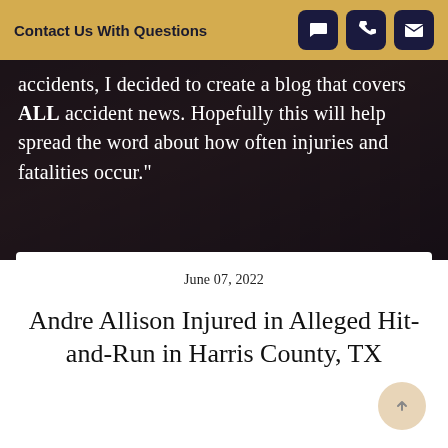Contact Us With Questions
accidents, I decided to create a blog that covers ALL accident news. Hopefully this will help spread the word about how often injuries and fatalities occur."
June 07, 2022
Andre Allison Injured in Alleged Hit-and-Run in Harris County, TX